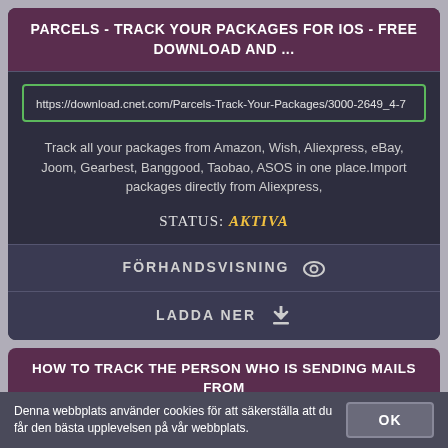PARCELS - TRACK YOUR PACKAGES FOR IOS - FREE DOWNLOAD AND ...
https://download.cnet.com/Parcels-Track-Your-Packages/3000-2649_4-7
Track all your packages from Amazon, Wish, Aliexpress, eBay, Joom, Gearbest, Banggood, Taobao, ASOS in one place.Import packages directly from Aliexpress,
STATUS: AKTIVA
FÖRHANDSVISNING
LADDA NER
HOW TO TRACK THE PERSON WHO IS SENDING MAILS FROM GUERRILLA MAIL ...
Denna webbplats använder cookies för att säkerställa att du får den bästa upplevelsen på vår webbplats.